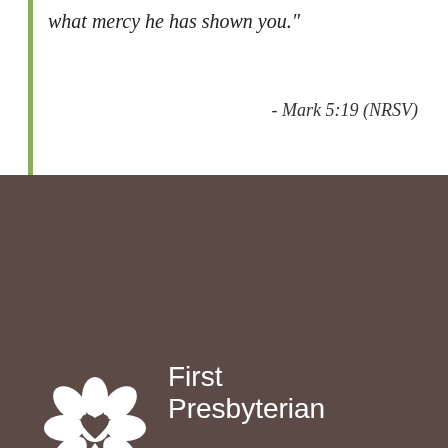what mercy he has shown you."
- Mark 5:19 (NRSV)
[Figure (logo): First Presbyterian Church logo: white snowflake/cross floral emblem on dark brown background]
First Presbyterian
hope. help. here.
Connect
Worship
Contact
News & Events
About
Donate
Back to Top